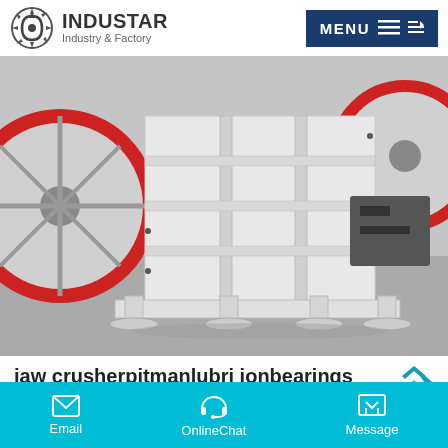INDUSTAR Industry & Factory | MENU
[Figure (photo): Industrial jaw crusher machine painted white, with heavy reinforced frame and mounting feet, photographed in a factory warehouse setting with large red-rimmed flywheels visible on the sides.]
jaw crusherpitmanlubri ionbearings
jaw crusher lubri ionsystem troubleshooting. automaticlubri
Email | OnlineChat | Message